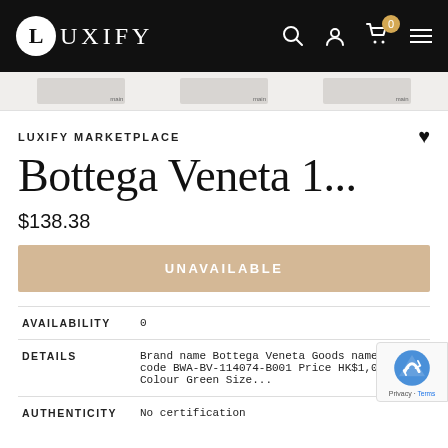LUXIFY
[Figure (screenshot): Three product image thumbnails in a light gray strip]
LUXIFY MARKETPLACE
Bottega Veneta 1...
$138.38
UNAVAILABLE
| Field | Value |
| --- | --- |
| AVAILABILITY | 0 |
| DETAILS | Brand name Bottega Veneta Goods name Goods code BWA-BV-114074-B001 Price HK$1,080 Colour Green Size... |
| AUTHENTICITY | No certification |